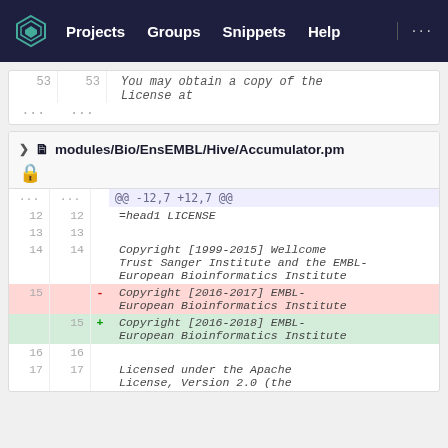Projects  Groups  Snippets  Help  ...
| old | new | content |
| --- | --- | --- |
| 53 | 53 | You may obtain a copy of the License at |
| ... | ... |  |
modules/Bio/EnsEMBL/Hive/Accumulator.pm
| old | new | diff | content |
| --- | --- | --- | --- |
| ... | ... |  | @@ -12,7 +12,7 @@ |
| 12 | 12 |  | =head1 LICENSE |
| 13 | 13 |  |  |
| 14 | 14 |  | Copyright [1999-2015] Wellcome Trust Sanger Institute and the EMBL-European Bioinformatics Institute |
| 15 |  | - | Copyright [2016-2017] EMBL-European Bioinformatics Institute |
|  | 15 | + | Copyright [2016-2018] EMBL-European Bioinformatics Institute |
| 16 | 16 |  |  |
| 17 | 17 |  | Licensed under the Apache License, Version 2.0 (the |